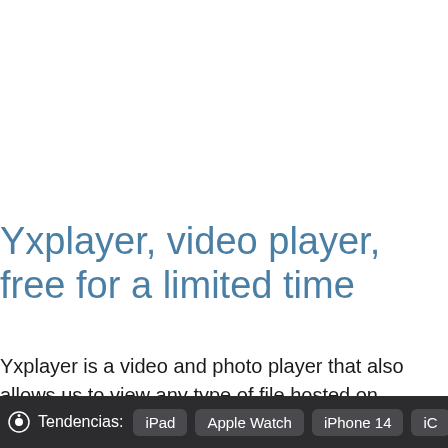Yxplayer, video player, free for a limited time
Yxplayer is a video and photo player that also allows us to view any type of file hosted on Dropbox, Google Drive or Box.
Tendencias: iPad  Apple Watch  iPhone 14  iC